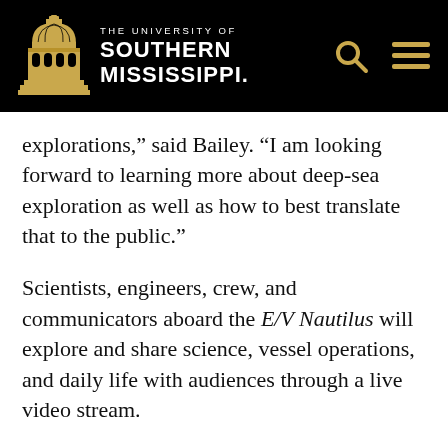[Figure (logo): The University of Southern Mississippi logo with building dome icon and text]
explorations,” said Bailey. “I am looking forward to learning more about deep-sea exploration as well as how to best translate that to the public.”
Scientists, engineers, crew, and communicators aboard the E/V Nautilus will explore and share science, vessel operations, and daily life with audiences through a live video stream.
Bailey, 28, works as a marine educator at USM’s Marine Education Center (MEC) where